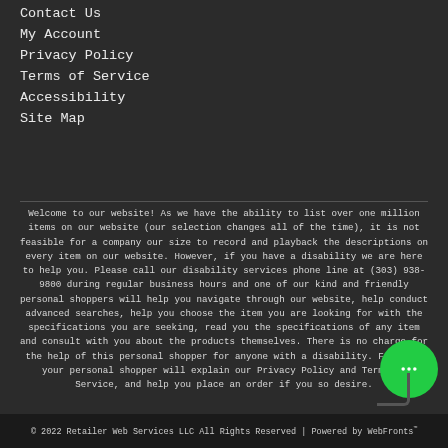Contact Us
My Account
Privacy Policy
Terms of Service
Accessibility
Site Map
Welcome to our website! As we have the ability to list over one million items on our website (our selection changes all of the time), it is not feasible for a company our size to record and playback the descriptions on every item on our website. However, if you have a disability we are here to help you. Please call our disability services phone line at (303) 938-9800 during regular business hours and one of our kind and friendly personal shoppers will help you navigate through our website, help conduct advanced searches, help you choose the item you are looking for with the specifications you are seeking, read you the specifications of any item and consult with you about the products themselves. There is no charge for the help of this personal shopper for anyone with a disability. Finally, your personal shopper will explain our Privacy Policy and Terms of Service, and help you place an order if you so desire.
© 2022 Retailer Web Services LLC All Rights Reserved | Powered by WebFronts™